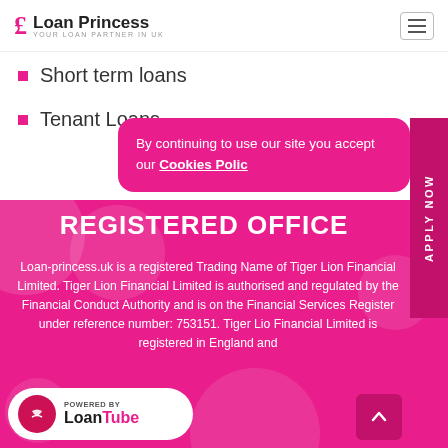Loan Princess — Your Loan Partner in UK
Short term loans
Tenant Loans
By continuing to use our site you accept our Cookies Policy
REGISTERED OFFICE
Loan-princess.uk is a registered Trading Name of Tiger Lion Financial Limited. Tiger Lion Financial Limited is authorised and regulated by the Financial Conduct Authority and is on the Financial Services Register under reference number: 753151. Tiger Lion Financial Limited is registered in England and